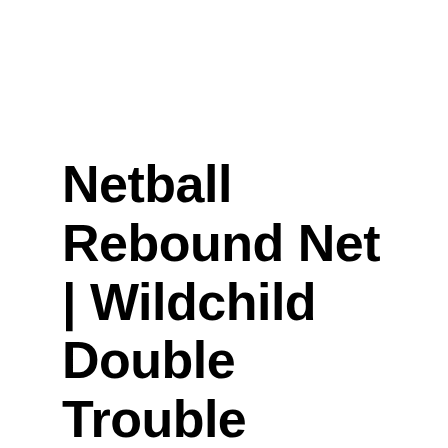Netball Rebound Net | Wildchild Double Trouble [DEAL OF THE WEEK]